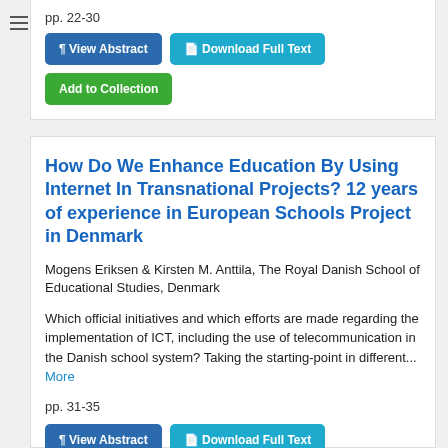pp. 22-30
¶ View Abstract
Download Full Text
Add to Collection
How Do We Enhance Education By Using Internet In Transnational Projects? 12 years of experience in European Schools Project in Denmark
Mogens Eriksen & Kirsten M. Anttila, The Royal Danish School of Educational Studies, Denmark
Which official initiatives and which efforts are made regarding the implementation of ICT, including the use of telecommunication in the Danish school system? Taking the starting-point in different... More
pp. 31-35
¶ View Abstract
Download Full Text